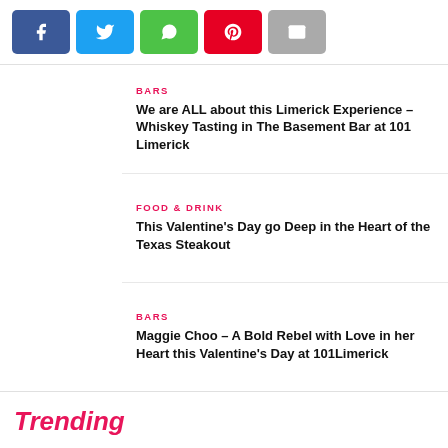[Figure (other): Social sharing buttons: Facebook (blue), Twitter (cyan), WhatsApp (green), Pinterest (red), Email (grey)]
[Figure (photo): Three stacked photos on the left: 1) Bartender with cocktails in a bar, 2) Fireplace bar with food, 3) 101 Limerick branded board with wine glasses and food platters]
BARS
We are ALL about this Limerick Experience – Whiskey Tasting in The Basement Bar at 101 Limerick
FOOD & DRINK
This Valentine's Day go Deep in the Heart of the Texas Steakout
BARS
Maggie Choo – A Bold Rebel with Love in her Heart this Valentine's Day at 101Limerick
Trending